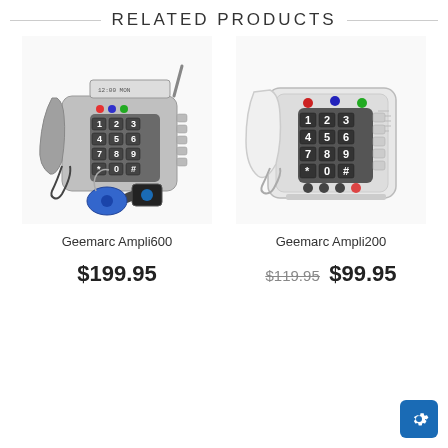RELATED PRODUCTS
[Figure (photo): Geemarc Ampli600 large button amplified telephone with caller ID display and wireless emergency call buttons/pendants]
Geemarc Ampli600
$199.95
[Figure (photo): Geemarc Ampli200 large button amplified telephone in white]
Geemarc Ampli200
$119.95 $99.95